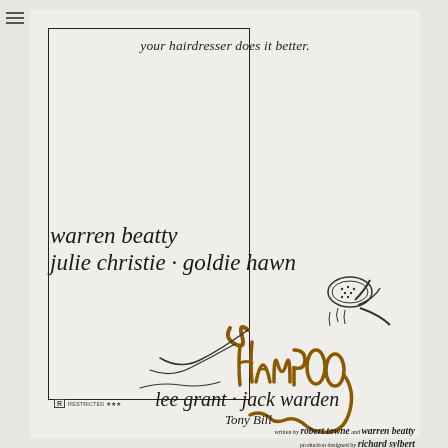[Figure (illustration): Movie poster for 'Shampoo' (1975). Features minimalist line drawing of a figure washing hair with a showerhead, with the title 'SHAMPOO' rendered in flowing brown/amber hair-like lettering. White/cream background with a partial black border frame on left and bottom.]
your hairdresser does it better.
warren beatty
julie christie · goldie hawn
lee grant · jack warden
Tony Bill
written by robert towne and warren beatty
production designed by richard sylbert
original music by paul simon